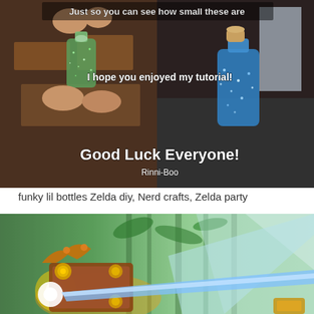[Figure (photo): Two small glass bottles with cork stoppers - one green glitter bottle held between fingers (left) and one blue glitter bottle on dark surface (right). Text overlays read 'Just so you can see how small these are', 'I hope you enjoyed my tutorial!', 'Good Luck Everyone!', and 'Rinni-Boo'.]
funky lil bottles Zelda diy, Nerd crafts, Zelda party
[Figure (photo): Fantasy/gaming scene showing an ornate golden mask or item with glowing light effects against a misty green forest background with light beams.]